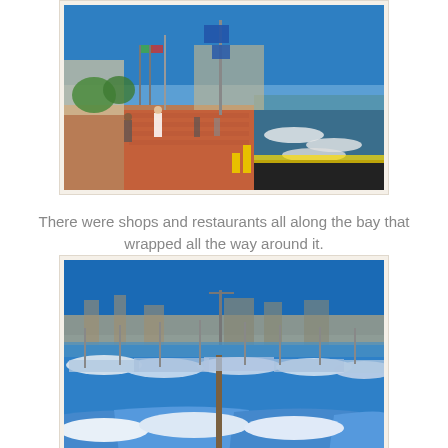[Figure (photo): Waterfront promenade boardwalk with shops, flags, and a marina with boats docked on the right side. People are walking along the red brick path under a clear blue sky.]
There were shops and restaurants all along the bay that wrapped all the way around it.
[Figure (photo): Marina packed with many small blue and white boats docked closely together under a bright blue sky, with a city visible in the background.]